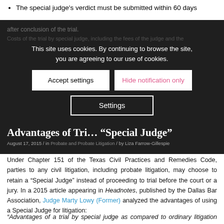The special judge's verdict must be submitted within 60 days after conclusion of the trial.
This site uses cookies. By continuing to browse the site, you are agreeing to our use of cookies.
Accept settings | Hide notification only | Settings
Costs of the trial by special judge, including the fees of the judge and the [rest obscured]
Advantages of Trial by "Special Judge"
August 17, 2015 / in Probate and Probate Litigation / by Liza Farrow-Gillespie
Under Chapter 151 of the Texas Civil Practices and Remedies Code, parties to any civil litigation, including probate litigation, may choose to retain a “Special Judge” instead of proceeding to trial before the court or a jury. In a 2015 article appearing in Headnotes, published by the Dallas Bar Association, Judge Marty Lowy (Former) analyzed the advantages of using a Special Judge for litigation:
“Advantages of a trial by special judge as compared to ordinary litigation include privacy, the ability to select a judge with experience suited to the case, and the ability to set the trial for a